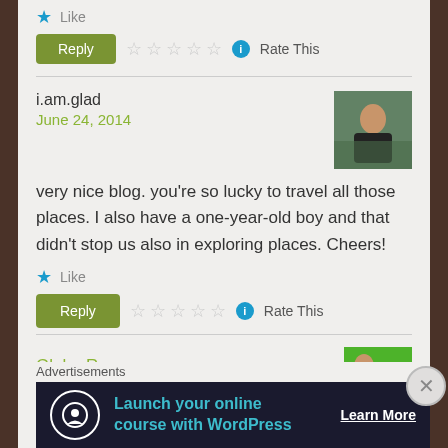★ Like
[Figure (screenshot): Reply button with 5 empty stars and Rate This label]
i.am.glad
June 24, 2014
[Figure (photo): Avatar photo of a woman sitting outdoors]
very nice blog. you're so lucky to travel all those places. I also have a one-year-old boy and that didn't stop us also in exploring places. Cheers!
★ Like
[Figure (screenshot): Reply button with 5 empty stars and Rate This label]
Globe Runner
Advertisements
[Figure (screenshot): Advertisement banner: Launch your online course with WordPress - Learn More]